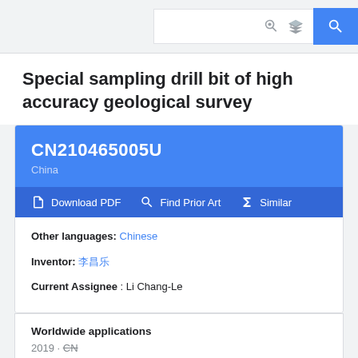Search bar area with icons
Special sampling drill bit of high accuracy geological survey
CN210465005U
China
Download PDF  Find Prior Art  Similar
Other languages: Chinese
Inventor: 李昌乐
Current Assignee : Li Chang-Le
Worldwide applications
2019 · CN